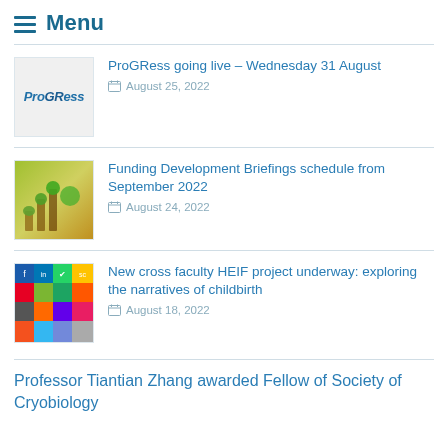Menu
ProGRess going live – Wednesday 31 August
August 25, 2022
Funding Development Briefings schedule from September 2022
August 24, 2022
New cross faculty HEIF project underway: exploring the narratives of childbirth
August 18, 2022
Professor Tiantian Zhang awarded Fellow of Society of Cryobiology